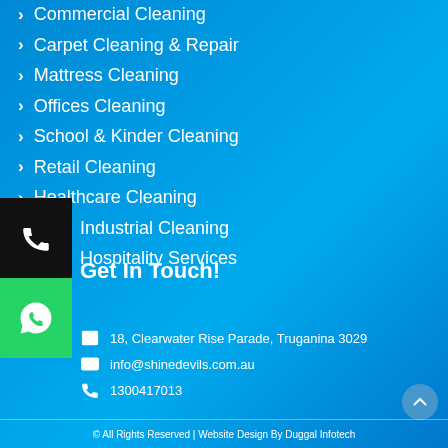Commercial Cleaning
Carpet Cleaning & Repair
Mattress Cleaning
Offices Cleaning
School & Kinder Cleaning
Retail Cleaning
Healthcare Cleaning
Industrial Cleaning
Hospitality Services
Get In Touch!
18, Clearwater Rise Parade, Truganina 3029
info@shinedevils.com.au
1300417013
© All Rights Reserved | Website Design By Duggal Infotech